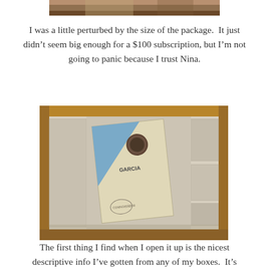[Figure (photo): Top partial photo of a wooden surface or table, cropped at the top of the page.]
I was a little perturbed by the size of the package.  It just didn’t seem big enough for a $100 subscription, but I’m not going to panic because I trust Nina.
[Figure (photo): An open cardboard shipping box containing white foam/tissue packing material and a blue and cream/tan colored book or booklet labeled 'GARCIA' with a circular emblem, sitting in the center of the box.]
The first thing I find when I open it up is the nicest descriptive info I’ve gotten from any of my boxes.  It’s